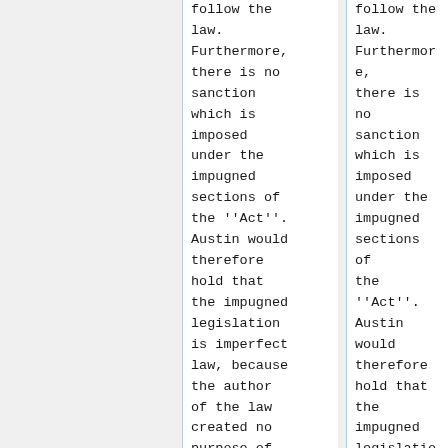follow the law. Furthermore, there is no sanction which is imposed under the impugned sections of the ''Act''. Austin would therefore hold that the impugned legislation is imperfect law, because the author of the law created no purpose of
follow the law. Furthermore, there is no sanction which is imposed under the impugned sections of the ''Act''. Austin would therefore hold that the impugned legislation is imperfect law, because the author of the law created no purpose of